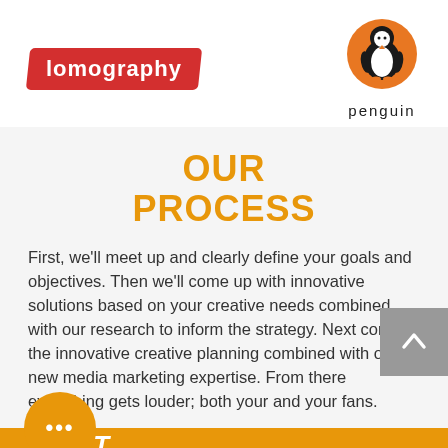[Figure (logo): Lomography red logo with white italic text on red background]
[Figure (logo): Penguin books logo: orange circle with penguin illustration, text 'penguin' below]
OUR PROCESS
First, we'll meet up and clearly define your goals and objectives. Then we'll come up with innovative solutions based on your creative needs combined with our research to inform the strategy. Next comes the innovative creative planning combined with our new media marketing expertise. From there everything gets louder; both your and your fans.
VISIT